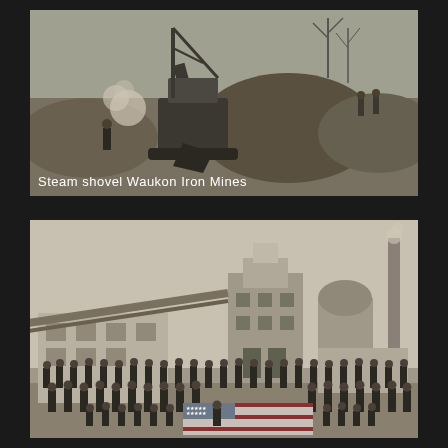[Figure (photo): Black and white historical photograph of a steam shovel at Waukon Iron Mines. The image shows industrial mining equipment (a large steam-powered shovel/excavator) amid excavated earth and rock, with workers visible and bare trees in the background. Caption text on the photo reads: 'Steam shovel   Waukon Iron Mines']
[Figure (photo): Black and white historical photograph of a large group of workers (approximately 50-60 men) posed in front of an industrial mining or smelting facility. The men hold or display a large American flag in the foreground. Behind them are industrial buildings including what appears to be a blast furnace, tall smokestack, and processing structures.]